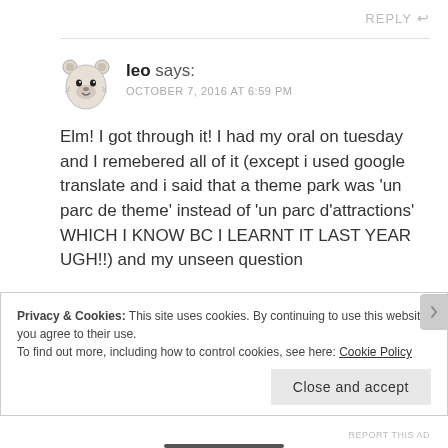REPLY
leo says:
OCTOBER 7, 2016 AT 6:59 PM
Elm! I got through it! I had my oral on tuesday and I remebered all of it (except i used google translate and i said that a theme park was 'un parc de theme' instead of 'un parc d'attractions' WHICH I KNOW BC I LEARNT IT LAST YEAR UGH!!) and my unseen question
Privacy & Cookies: This site uses cookies. By continuing to use this website, you agree to their use.
To find out more, including how to control cookies, see here: Cookie Policy
Close and accept